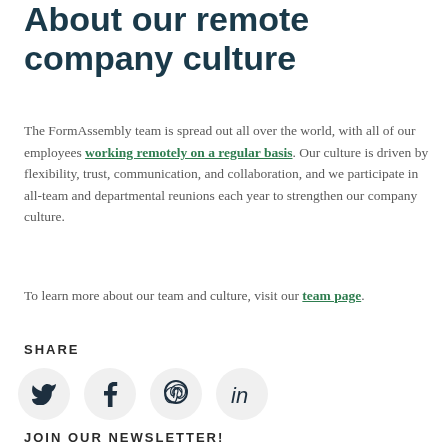About our remote company culture
The FormAssembly team is spread out all over the world, with all of our employees working remotely on a regular basis. Our culture is driven by flexibility, trust, communication, and collaboration, and we participate in all-team and departmental reunions each year to strengthen our company culture.
To learn more about our team and culture, visit our team page.
SHARE
[Figure (infographic): Four social media share icons in light gray circles: Twitter bird, Facebook f, Pinterest P, LinkedIn in]
JOIN OUR NEWSLETTER!